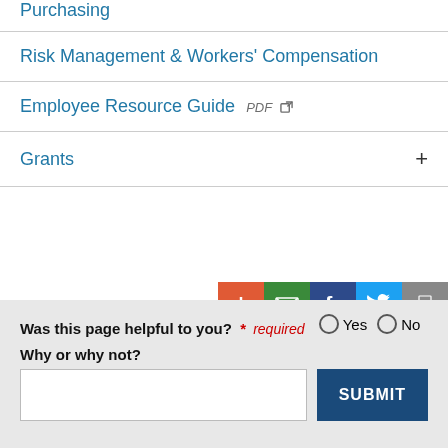Purchasing
Risk Management & Workers' Compensation
Employee Resource Guide PDF
Grants
Was this page helpful to you? * required  Yes  No
Why or why not?